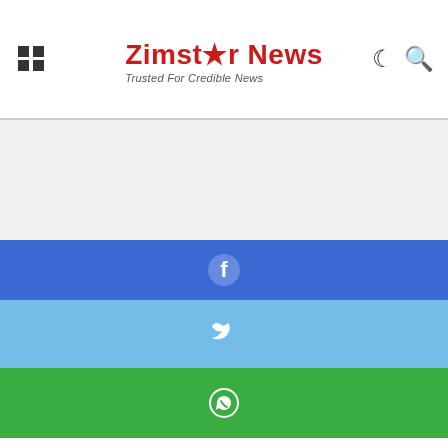Zimstar News — Trusted For Credible News
[Figure (other): Advertisement/blank area below header]
“We have one Munhumutapa (Cde ED), we have one leader and it is that leader we give respect. It is that leader we show the entire nation what respect is all about.
“So, what has been done by Chief Murinye is going to be investigated by the Ministry of Local Government and the
[Figure (infographic): Facebook share button bar (blue)]
[Figure (infographic): Twitter share button bar (light blue)]
[Figure (infographic): WhatsApp share button bar (green)]